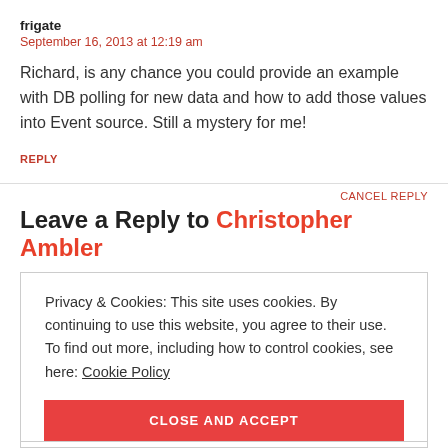frigate
September 16, 2013 at 12:19 am
Richard, is any chance you could provide an example with DB polling for new data and how to add those values into Event source. Still a mystery for me!
REPLY
CANCEL REPLY
Leave a Reply to Christopher Ambler
Privacy & Cookies: This site uses cookies. By continuing to use this website, you agree to their use. To find out more, including how to control cookies, see here: Cookie Policy
CLOSE AND ACCEPT